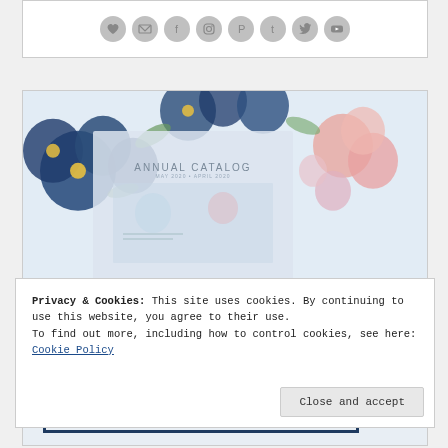[Figure (other): Row of circular social media icons (heart, email, Facebook, Instagram, Pinterest, Tumblr, Twitter, YouTube) on white background in a bordered box]
[Figure (photo): Bordered card showing watercolor floral arrangement (blue, pink, green flowers) with an 'Annual Catalog May 2020 - April 2020' overlay card and a dark navy bordered box with the word 'Catalogs' in large bold navy text]
Privacy & Cookies: This site uses cookies. By continuing to use this website, you agree to their use.
To find out more, including how to control cookies, see here: Cookie Policy
Close and accept